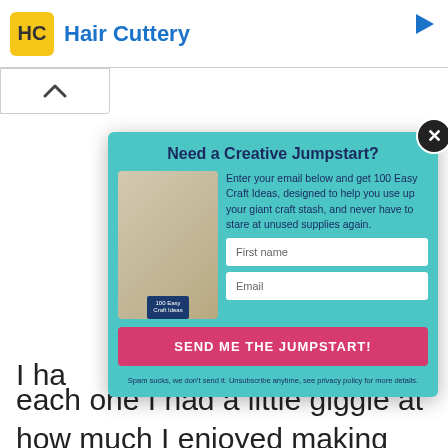[Figure (screenshot): Hair Cuttery advertisement banner at the top of a webpage]
[Figure (screenshot): Modal popup: Need a Creative Jumpstart? Enter your email below and get 100 Easy Craft Ideas, designed to help you use up your giant craft stash, and never have to stare at unused supplies again. First name field, Email field, SEND ME THE JUMPSTART! button, spam disclaimer.]
I ha... each one I had a little giggle at how much I enjoyed making each one different.